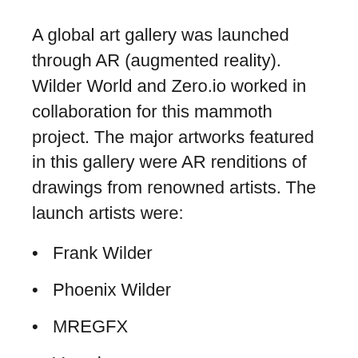A global art gallery was launched through AR (augmented reality). Wilder World and Zero.io worked in collaboration for this mammoth project. The major artworks featured in this gallery were AR renditions of drawings from renowned artists. The launch artists were:
Frank Wilder
Phoenix Wilder
MREGFX
Vacades
A patron can purchase each artwork for a value of $9. After the purchase, these AR artworks are donated to real-time locations.